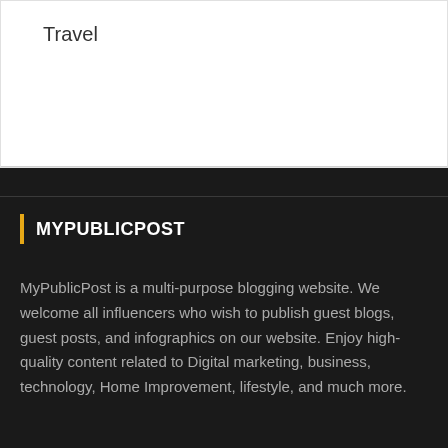Travel
MYPUBLICPOST
MyPublicPost is a multi-purpose blogging website. We welcome all influencers who wish to publish guest blogs, guest posts, and infographics on our website. Enjoy high-quality content related to Digital marketing, business, technology, Home Improvement, lifestyle, and much more.